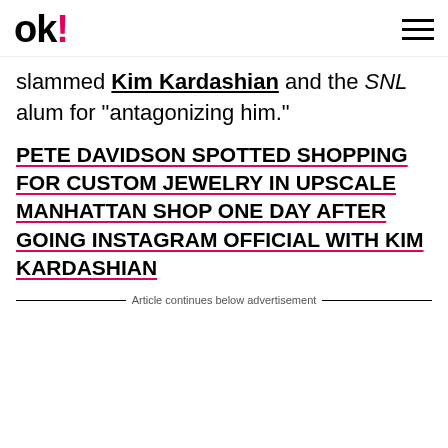OK!
slammed Kim Kardashian and the SNL alum for "antagonizing him."
PETE DAVIDSON SPOTTED SHOPPING FOR CUSTOM JEWELRY IN UPSCALE MANHATTAN SHOP ONE DAY AFTER GOING INSTAGRAM OFFICIAL WITH KIM KARDASHIAN
Article continues below advertisement